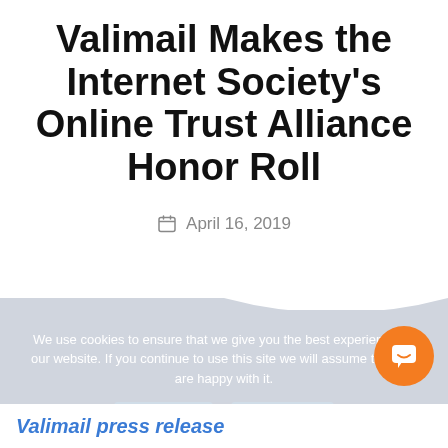Valimail Makes the Internet Society's Online Trust Alliance Honor Roll
April 16, 2019
We use cookies to ensure that we give you the best experience on our website. If you continue to use this site we will assume that you are happy with it.
Valimail press release